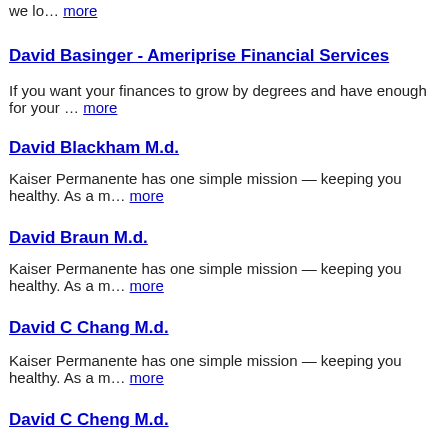we lo… more
David Basinger - Ameriprise Financial Services
If you want your finances to grow by degrees and have enough for your … more
David Blackham M.d.
Kaiser Permanente has one simple mission — keeping you healthy. As a m… more
David Braun M.d.
Kaiser Permanente has one simple mission — keeping you healthy. As a m… more
David C Chang M.d.
Kaiser Permanente has one simple mission — keeping you healthy. As a m… more
David C Cheng M.d.